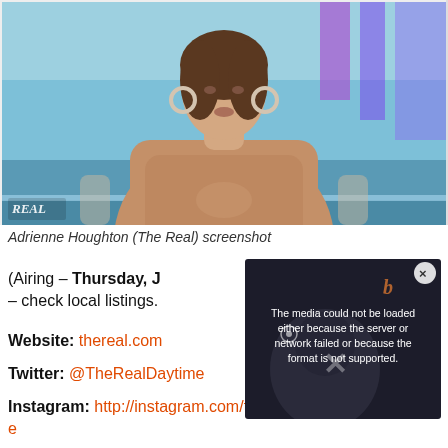[Figure (screenshot): Screenshot of Adrienne Houghton on The Real daytime talk show, seated in studio with blue/teal background, wearing tan/brown long-sleeve top with hoop earrings, with 'REAL' logo visible bottom left]
Adrienne Houghton (The Real) screenshot
(Airing – Thursday, J[...] – check local listings.
Website: thereal.com[...]
Twitter: @TheRealDaytime
Instagram: http://instagram.com/therealdaytime
[Figure (screenshot): Video player error overlay: dark background with text 'The media could not be loaded either because the server or network failed or because the format is not supported.' with orange brand mark and eye/X icons visible]